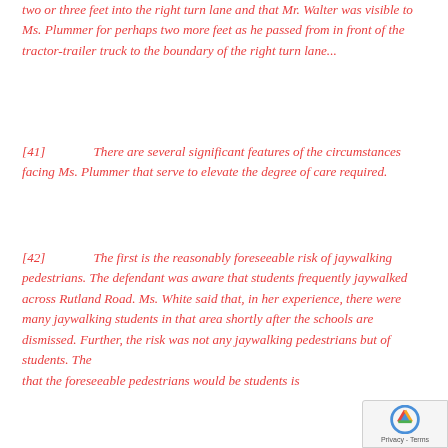two or three feet into the right turn lane and that Mr. Walter was visible to Ms. Plummer for perhaps two more feet as he passed from in front of the tractor-trailer truck to the boundary of the right turn lane...
[41]      There are several significant features of the circumstances facing Ms. Plummer that serve to elevate the degree of care required.
[42]      The first is the reasonably foreseeable risk of jaywalking pedestrians. The defendant was aware that students frequently jaywalked across Rutland Road. Ms. White said that, in her experience, there were many jaywalking students in that area shortly after the schools are dismissed. Further, the risk was not any jaywalking pedestrians but of students. The that the foreseeable pedestrians would be students is